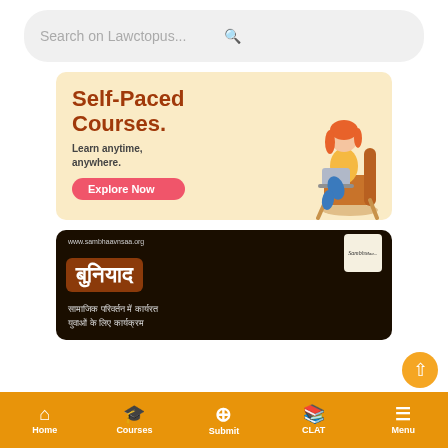Search on Lawctopus...
[Figure (illustration): Advertisement banner for self-paced courses with orange text 'Self-Paced Courses.' and subtitle 'Learn anytime, anywhere.' with a red button 'Explore Now' and a 3D illustration of a girl sitting on a chair with a laptop, on a light orange background.]
[Figure (illustration): Advertisement banner for 'Buniyadd' program by sambhaavnaa.org. Dark background with Hindi text 'बुनियाद' in orange-brown box and subtitle 'सामाजिक परिवर्तन में कार्यरत युवाओं के लिए कार्यक्रम']
Home | Courses | Submit | CLAT | Menu